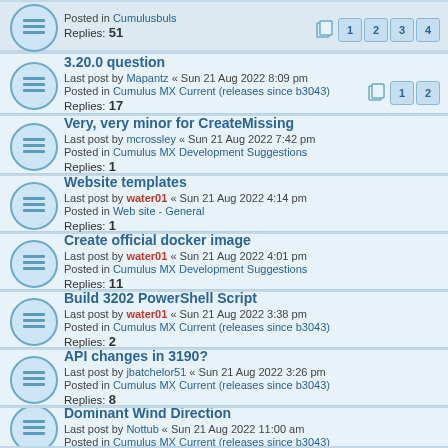Posted in Cumulusbuls
Replies: 51
Pages: 1 2 3 4
3.20.0 question
Last post by Mapantz « Sun 21 Aug 2022 8:09 pm
Posted in Cumulus MX Current (releases since b3043)
Replies: 17
Pages: 1 2
Very, very minor for CreateMissing
Last post by mcrossley « Sun 21 Aug 2022 7:42 pm
Posted in Cumulus MX Development Suggestions
Replies: 1
Website templates
Last post by water01 « Sun 21 Aug 2022 4:14 pm
Posted in Web site - General
Replies: 1
Create official docker image
Last post by water01 « Sun 21 Aug 2022 4:01 pm
Posted in Cumulus MX Development Suggestions
Replies: 11
Build 3202 PowerShell Script
Last post by water01 « Sun 21 Aug 2022 3:38 pm
Posted in Cumulus MX Current (releases since b3043)
Replies: 2
API changes in 3190?
Last post by jbatchelor51 « Sun 21 Aug 2022 3:26 pm
Posted in Cumulus MX Current (releases since b3043)
Replies: 8
Dominant Wind Direction
Last post by Nottub « Sun 21 Aug 2022 11:00 am
Posted in Cumulus MX Current (releases since b3043)